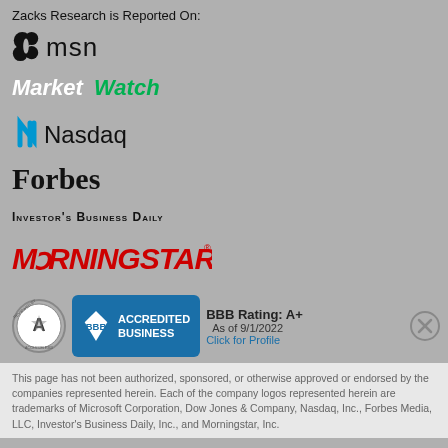Zacks Research is Reported On:
[Figure (logo): MSN logo with butterfly icon and 'msn' text]
[Figure (logo): MarketWatch logo in white italic text on grey background]
[Figure (logo): Nasdaq logo with blue N icon and Nasdaq text]
[Figure (logo): Forbes logo in bold black serif font]
[Figure (logo): Investor's Business Daily logo in small caps]
[Figure (logo): Morningstar logo in red stylized text]
[Figure (logo): BBB Accredited Business badge with Accessible360 badge and BBB Rating A+ as of 9/1/2022]
This page has not been authorized, sponsored, or otherwise approved or endorsed by the companies represented herein. Each of the company logos represented herein are trademarks of Microsoft Corporation, Dow Jones & Company, Nasdaq, Inc., Forbes Media, LLC, Investor's Business Daily, Inc., and Morningstar, Inc.